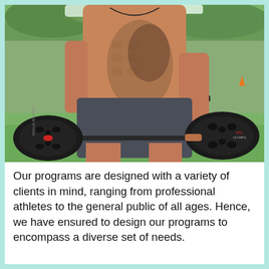[Figure (photo): A shirtless athletic man with tattoos on his torso, wearing dark grey shorts and a watch, crouching outdoors on grass and holding a barbell with large black weight plates. The photo is taken from the chest down, showing his muscular physique.]
Our programs are designed with a variety of clients in mind, ranging from professional athletes to the general public of all ages. Hence, we have ensured to design our programs to encompass a diverse set of needs.